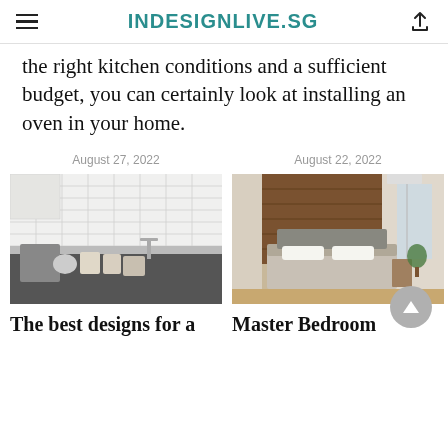INDESIGNLIVE.SG
the right kitchen conditions and a sufficient budget, you can certainly look at installing an oven in your home.
August 27, 2022
August 22, 2022
[Figure (photo): White kitchen with subway tile backsplash, countertop appliances and cookware]
[Figure (photo): Modern master bedroom with wood accent wall, gray upholstered bed and minimalist decor]
The best designs for a
Master Bedroom